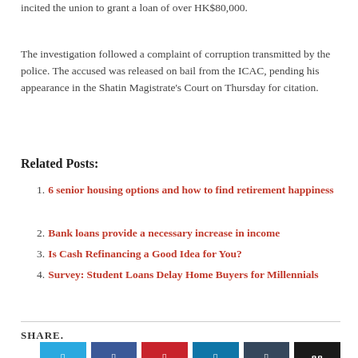incited the union to grant a loan of over HK$80,000.
The investigation followed a complaint of corruption transmitted by the police. The accused was released on bail from the ICAC, pending his appearance in the Shatin Magistrate's Court on Thursday for citation.
Related Posts:
1. 6 senior housing options and how to find retirement happiness
2. Bank loans provide a necessary increase in income
3. Is Cash Refinancing a Good Idea for You?
4. Survey: Student Loans Delay Home Buyers for Millennials
SHARE.